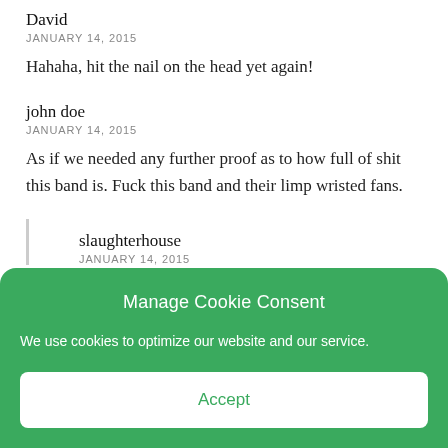David
JANUARY 14, 2015
Hahaha, hit the nail on the head yet again!
john doe
JANUARY 14, 2015
As if we needed any further proof as to how full of shit this band is. Fuck this band and their limp wristed fans.
slaughterhouse
JANUARY 14, 2015
Manage Cookie Consent
We use cookies to optimize our website and our service.
Accept